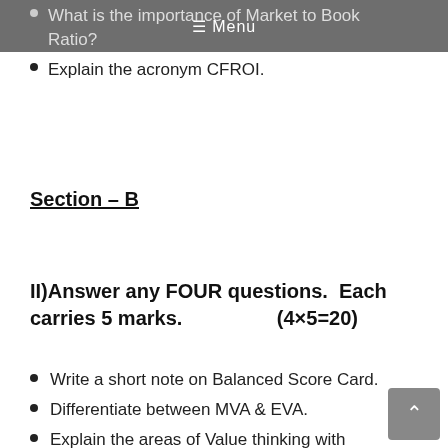≡ Menu
What is the importance of Market to Book Ratio?
Explain the acronym CFROI.
Section – B
II)Answer any FOUR questions.  Each carries 5 marks.                  (4×5=20)
Write a short note on Balanced Score Card.
Differentiate between MVA & EVA.
Explain the areas of Value thinking with